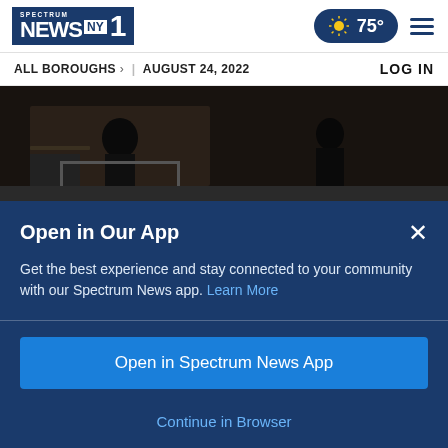Spectrum News NY1 | 75° | ALL BOROUGHS > | AUGUST 24, 2022 | LOG IN
[Figure (photo): Dark interior photo showing a person seated in what appears to be a vaccination clinic setting]
CORONAVIRUS
40 new pop-up COVID-19 vaccination
Open in Our App
Get the best experience and stay connected to your community with our Spectrum News app. Learn More
Open in Spectrum News App
Continue in Browser